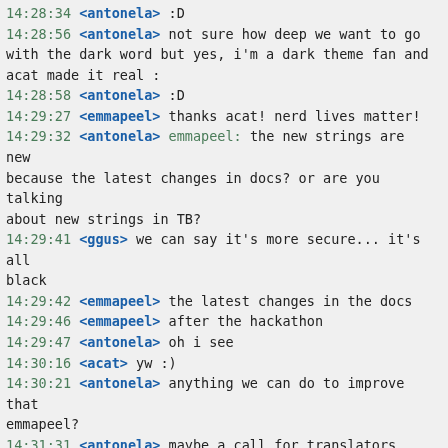14:28:34 <antonela> :D
14:28:56 <antonela> not sure how deep we want to go with the dark word but yes, i'm a dark theme fan and acat made it real :
14:28:58 <antonela> :D
14:29:27 <emmapeel> thanks acat! nerd lives matter!
14:29:32 <antonela> emmapeel: the new strings are new because the latest changes in docs? or are you talking about new strings in TB?
14:29:41 <ggus> we can say it's more secure... it's all black
14:29:42 <emmapeel> the latest changes in the docs
14:29:46 <emmapeel> after the hackathon
14:29:47 <antonela> oh i see
14:30:16 <acat> yw :)
14:30:21 <antonela> anything we can do to improve that emmapeel?
14:31:31 <antonela> maybe a call for translators after tb9, early next month?
14:32:16 <emmapeel> lots of calls this last days
14:32:21 <antonela> i know
14:32:23 <emmapeel> better to leave them to notice by themselves i think
14:32:30 <emmapeel> so we give priority
14:32:30 <antonela> im cool with it
14:32:53 <emmapeel> there are a lot of strings that are easy to recover, because only a link changed for example
14:33:04 <emmapeel> or there were typos on the english source, but the translation does not need to change